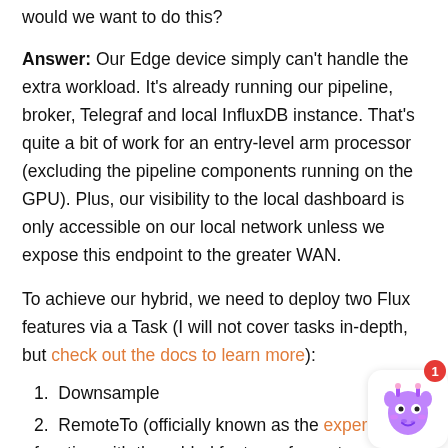would we want to do this?
Answer: Our Edge device simply can't handle the extra workload. It's already running our pipeline, broker, Telegraf and local InfluxDB instance. That's quite a bit of work for an entry-level arm processor (excluding the pipeline components running on the GPU). Plus, our visibility to the local dashboard is only accessible on our local network unless we expose this endpoint to the greater WAN.
To achieve our hybrid, we need to deploy two Flux features via a Task (I will not cover tasks in-depth, but check out the docs to learn more):
Downsample
RemoteTo (officially known as the experimental function with the added feature of remote support)